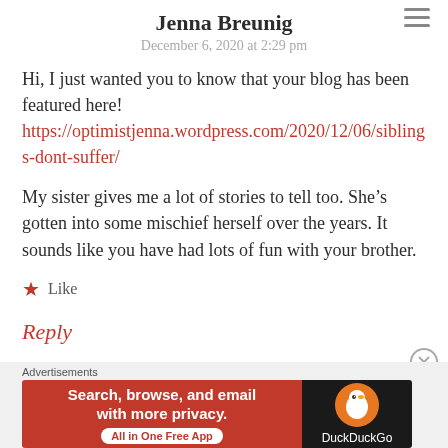Jenna Breunig
December 6, 2020 at 2:29 pm
Hi, I just wanted you to know that your blog has been featured here! https://optimistjenna.wordpress.com/2020/12/06/siblings-dont-suffer/
My sister gives me a lot of stories to tell too. She’s gotten into some mischief herself over the years. It sounds like you have had lots of fun with your brother.
★ Like
Reply
Advertisements
[Figure (screenshot): DuckDuckGo advertisement banner: red left section with text 'Search, browse, and email with more privacy. All in One Free App' and dark right section with DuckDuckGo logo and name.]